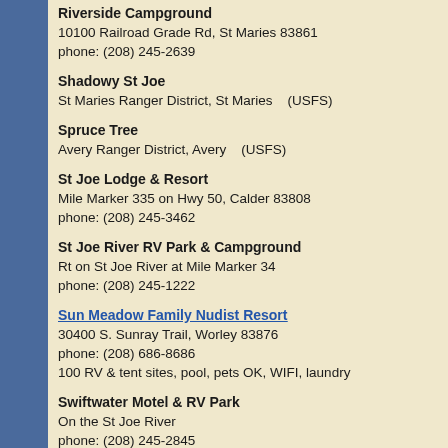Riverside Campground
10100 Railroad Grade Rd, St Maries 83861
phone: (208) 245-2639
Shadowy St Joe
St Maries Ranger District, St Maries   (USFS)
Spruce Tree
Avery Ranger District, Avery   (USFS)
St Joe Lodge & Resort
Mile Marker 335 on Hwy 50, Calder 83808
phone: (208) 245-3462
St Joe River RV Park & Campground
Rt on St Joe River at Mile Marker 34
phone: (208) 245-1222
Sun Meadow Family Nudist Resort
30400 S. Sunray Trail, Worley 83876
phone: (208) 686-8686
100 RV & tent sites, pool, pets OK, WIFI, laundry
Swiftwater Motel & RV Park
On the St Joe River
phone: (208) 245-2845